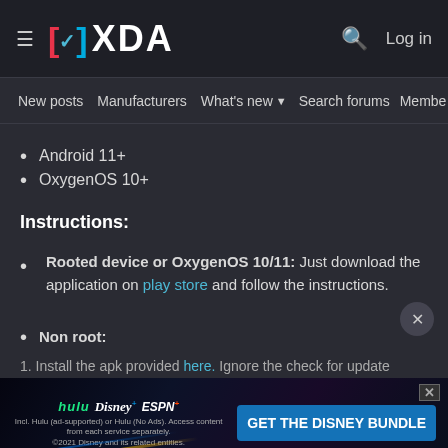XDA Forums header with logo, search, and Log in
New posts  Manufacturers  What's new  Search forums  Members  >
Android 11+
OxygenOS 10+
Instructions:
Rooted device or OxygenOS 10/11: Just download the application on play store and follow the instructions.
Non root:
1. Install the apk provided here. Ignore the check for update
[Figure (screenshot): Disney Bundle advertisement banner with Hulu, Disney+, ESPN+ logos and 'GET THE DISNEY BUNDLE' button]
To buy the application on non-root versions: